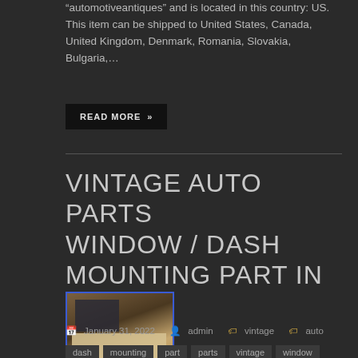“automotiveantiques” and is located in this country: US. This item can be shipped to United States, Canada, United Kingdom, Denmark, Romania, Slovakia, Bulgaria,…
READ MORE »
VINTAGE AUTO PARTS WINDOW / DASH MOUNTING PART IN BOX
[Figure (photo): Thumbnail photo of a vintage auto parts box open, showing a mounting part inside, with a blue border frame]
January 31, 2022  admin  vintage  auto
dash  mounting  part  parts  vintage  window